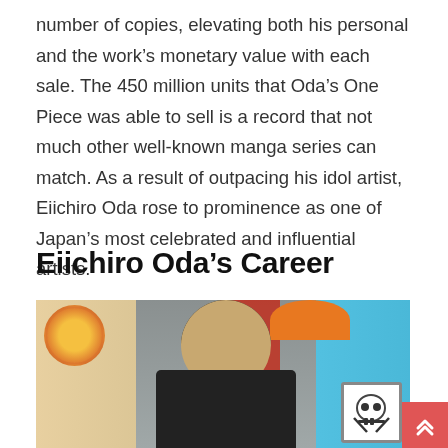number of copies, elevating both his personal and the work's monetary value with each sale. The 450 million units that Oda's One Piece was able to sell is a record that not much other well-known manga series can match. As a result of outpacing his idol artist, Eiichiro Oda rose to prominence as one of Japan's most celebrated and influential artists.
Eiichiro Oda's Career
[Figure (photo): Photo of Eiichiro Oda, manga artist, smiling at an event with One Piece themed decorations in the background including skulls and colorful artwork.]